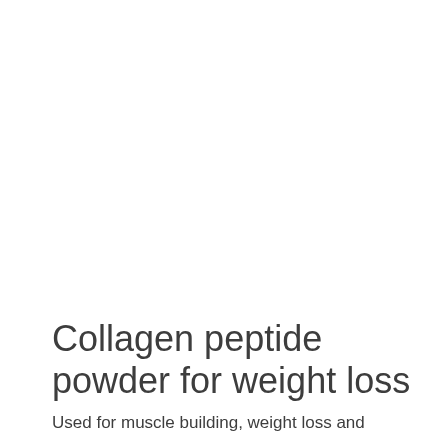Collagen peptide powder for weight loss
Used for muscle building, weight loss and